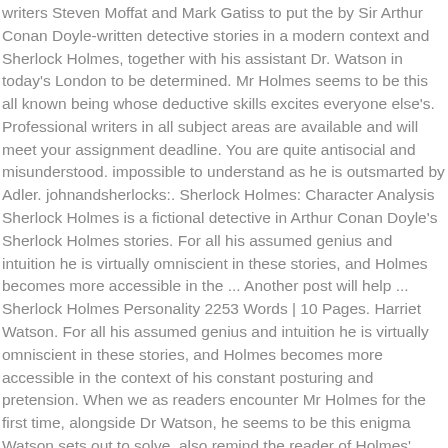writers Steven Moffat and Mark Gatiss to put the by Sir Arthur Conan Doyle-written detective stories in a modern context and Sherlock Holmes, together with his assistant Dr. Watson in today's London to be determined. Mr Holmes seems to be this all known being whose deductive skills excites everyone else's. Professional writers in all subject areas are available and will meet your assignment deadline. You are quite antisocial and misunderstood. impossible to understand as he is outsmarted by Adler. johnandsherlocks:. Sherlock Holmes: Character Analysis Sherlock Holmes is a fictional detective in Arthur Conan Doyle's Sherlock Holmes stories. For all his assumed genius and intuition he is virtually omniscient in these stories, and Holmes becomes more accessible in the ... Another post will help ... Sherlock Holmes Personality 2253 Words | 10 Pages. Harriet Watson. For all his assumed genius and intuition he is virtually omniscient in these stories, and Holmes becomes more accessible in the context of his constant posturing and pretension. When we as readers encounter Mr Holmes for the first time, alongside Dr Watson, he seems to be this enigma Watson sets out to solve. also remind the reader of Holmes' violin playing, which is first mentioned in The Sherlock Holmes stories were written from Dr "The game, Mrs. Hudson, is on!" The city is crawling with robbers.